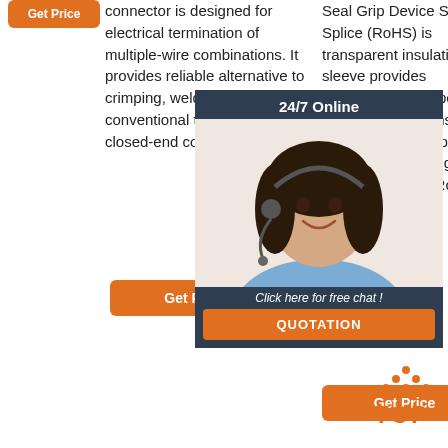[Figure (other): Orange 'Get Price' button at top left]
connector is designed for electrical termination of multiple-wire combinations. It provides reliable alternative to crimping, welding, or conventional twist-on-style closed-end connectors.
Seal Grip Device Stub Splice (RoHS) is transparent insulation sleeve provides encapsulation inspection, strain relief, and insulation. Pre-fluxed solder provides controlled soldering process in this product is RoHS required.
[Figure (other): 24/7 Online chat overlay with customer service representative photo and QUOTATION button]
[Figure (other): Orange 'Get Price' button in middle column]
[Figure (other): Orange 'Get Price' button in right column]
[Figure (other): TOP badge with orange dots arranged in triangle above orange TOP text]